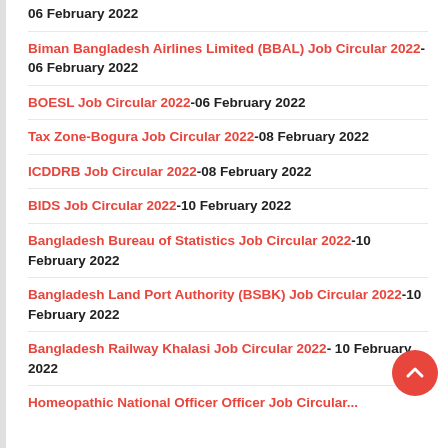06 February 2022
Biman Bangladesh Airlines Limited (BBAL) Job Circular 2022-06 February 2022
BOESL Job Circular 2022-06 February 2022
Tax Zone-Bogura Job Circular 2022-08 February 2022
ICDDRB Job Circular 2022-08 February 2022
BIDS Job Circular 2022-10 February 2022
Bangladesh Bureau of Statistics Job Circular 2022-10 February 2022
Bangladesh Land Port Authority (BSBK) Job Circular 2022-10 February 2022
Bangladesh Railway Khalasi Job Circular 2022-10 February 2022
Homeopathic National Officer Officer Job Circular...